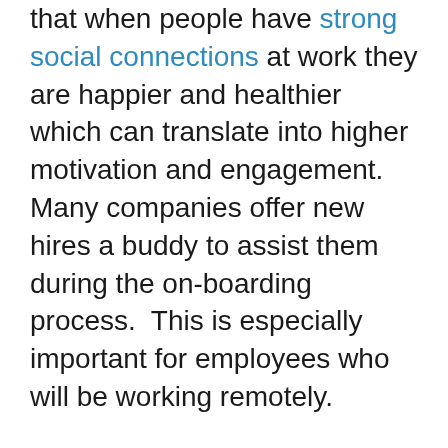that when people have strong social connections at work they are happier and healthier which can translate into higher motivation and engagement.  Many companies offer new hires a buddy to assist them during the on-boarding process.  This is especially important for employees who will be working remotely.
Build connections via non-work-related group activities, such as a walking group.  Walking is a no-cost, accessible activity that requires no equipment and has the added